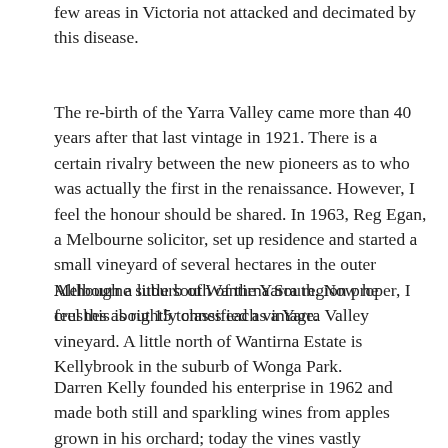few areas in Victoria not attacked and decimated by this disease.
The re-birth of the Yarra Valley came more than 40 years after that last vintage in 1921. There is a certain rivalry between the new pioneers as to who was actually the first in the renaissance. However, I feel the honour should be shared. In 1963, Reg Egan, a Melbourne solicitor, set up residence and started a small vineyard of several hectares in the outer Melbourne suburb of Wantirna South. Now he crushes about 15 tonnes each vintage.
Although a little south of the Yarra region proper, I feel this is rightly classified as a Yarra Valley vineyard. A little north of Wantirna Estate is Kellybrook in the suburb of Wonga Park.
Darren Kelly founded his enterprise in 1962 and made both still and sparkling wines from apples grown in his orchard; today the vines vastly outnumber the apple trees.